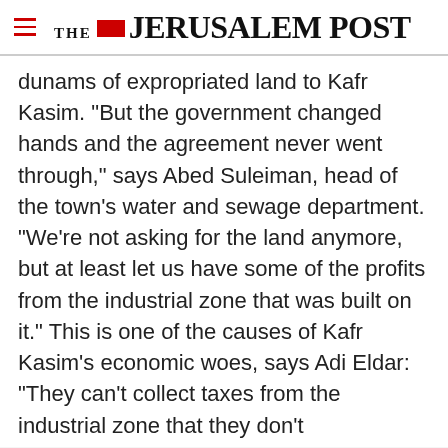THE JERUSALEM POST
dunams of expropriated land to Kafr Kasim. "But the government changed hands and the agreement never went through," says Abed Suleiman, head of the town's water and sewage department. "We're not asking for the land anymore, but at least let us have some of the profits from the industrial zone that was built on it." This is one of the causes of Kafr Kasim's economic woes, says Adi Eldar: "They can't collect taxes from the industrial zone that they don't
Advertisement
[Figure (illustration): Magen David Adom advertisement banner with red background, star of David logo, Hebrew text, and button reading 'Help us save lives in Israel']